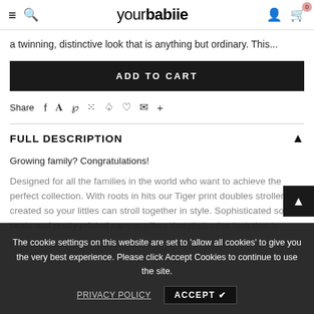yourbabiie — navigation header with hamburger, search, logo, account and cart icons
a twinning, distinctive look that is anything but ordinary. This...
ADD TO CART
Share
FULL DESCRIPTION
Growing family? Congratulations!
Designed for all the families in the world who want to achieve the perfect collection. With roots in hits our Tiger print doubles stroller was created so your littles can stroll together in style. Sophisticated solid seats and pretty printed canvas offers that distinctive look that is anything but ordinary. This...
The cookie settings on this website are set to 'allow all cookies' to give you the very best experience. Please click Accept Cookies to continue to use the site.
PRIVACY POLICY   ACCEPT ✔